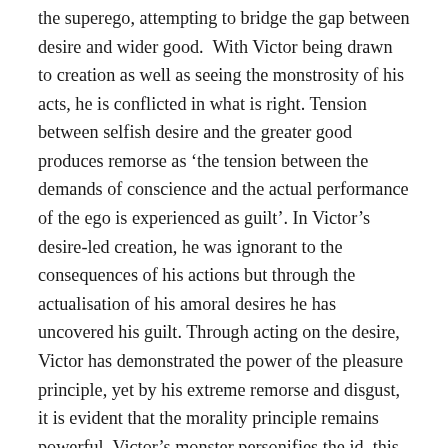the superego, attempting to bridge the gap between desire and wider good. With Victor being drawn to creation as well as seeing the monstrosity of his acts, he is conflicted in what is right. Tension between selfish desire and the greater good produces remorse as ‘the tension between the demands of conscience and the actual performance of the ego is experienced as guilt’. In Victor’s desire-led creation, he was ignorant to the consequences of his actions but through the actualisation of his amoral desires he has uncovered his guilt. Through acting on the desire, Victor has demonstrated the power of the pleasure principle, yet by his extreme remorse and disgust, it is evident that the morality principle remains powerful. Victor’s monster personifies the id, this creation is an irrational impulse that has been materialized, his creation embodies pleasure and selfish desire. Through attempting to escape his creation, Victor exemplifies the ambiguity of the ego’s